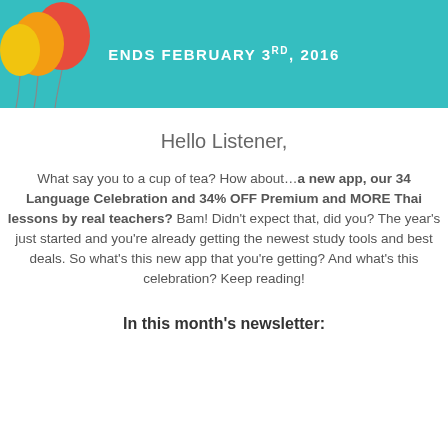ENDS FEBRUARY 3RD, 2016
Hello Listener,
What say you to a cup of tea? How about…a new app, our 34 Language Celebration and 34% OFF Premium and MORE Thai lessons by real teachers? Bam! Didn't expect that, did you? The year's just started and you're already getting the newest study tools and best deals. So what's this new app that you're getting? And what's this celebration? Keep reading!
In this month's newsletter: